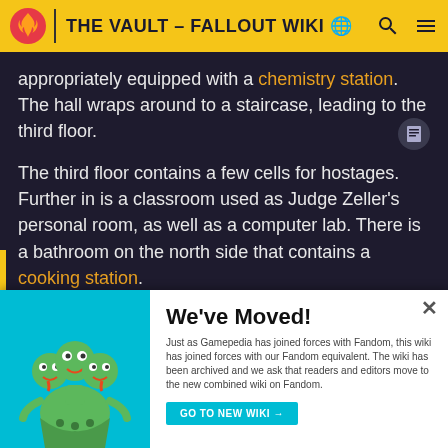THE VAULT - FALLOUT WIKI
appropriately equipped with a chemistry station. The hall wraps around to a staircase, leading to the third floor.
The third floor contains a few cells for hostages. Further in is a classroom used as Judge Zeller's personal room, as well as a computer lab. There is a bathroom on the north side that contains a cooking station.
[Figure (photo): Interior of a dark, post-apocalyptic room with industrial ceiling and window]
[Figure (photo): Aerial/exterior view of post-apocalyptic cityscape with destroyed buildings]
We've Moved! Just as Gamepedia has joined forces with Fandom, this wiki has joined forces with our Fandom equivalent. The wiki has been archived and we ask that readers and editors move to the new combined wiki on Fandom.